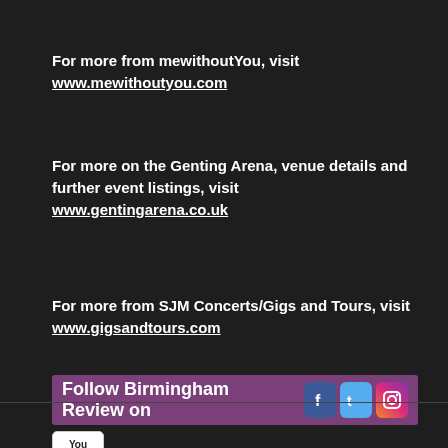For more from mewithoutYou, visit www.mewithoutyou.com
For more on the Genting Arena, venue details and further event listings, visit www.gentingarena.co.uk
For more from SJM Concerts/Gigs and Tours, visit www.gigsandtours.com
Follow Birmingham Review on [Facebook] [Twitter] [Instagram] [YouTube]